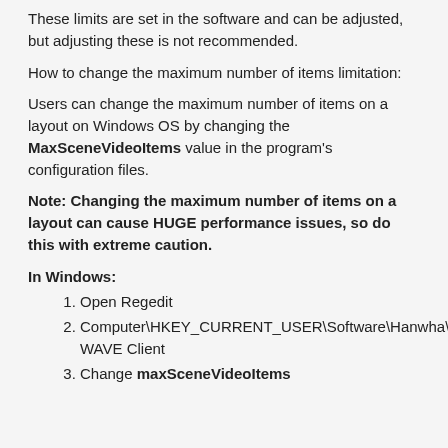These limits are set in the software and can be adjusted, but adjusting these is not recommended.
How to change the maximum number of items limitation:
Users can change the maximum number of items on a layout on Windows OS by changing the MaxSceneVideoItems value in the program's configuration files.
Note: Changing the maximum number of items on a layout can cause HUGE performance issues, so do this with extreme caution.
In Windows:
Open Regedit
Computer\HKEY_CURRENT_USER\Software\Hanwha\Hanwha WAVE Client
Change maxSceneVideoItems